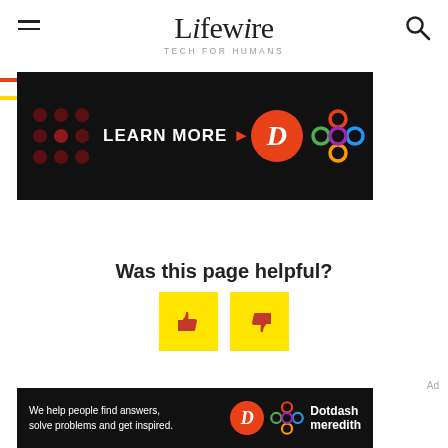Lifewire TECH FOR HUMANS
[Figure (screenshot): Advertisement banner with 'LEARN MORE' text, Dotdash D logo and colorful knot logo on black background]
Was this page helpful?
[Figure (other): Thumbs up and thumbs down yellow buttons for page feedback]
Ad
[Figure (screenshot): Dotdash Meredith footer banner: 'We help people find answers, solve problems and get inspired.']